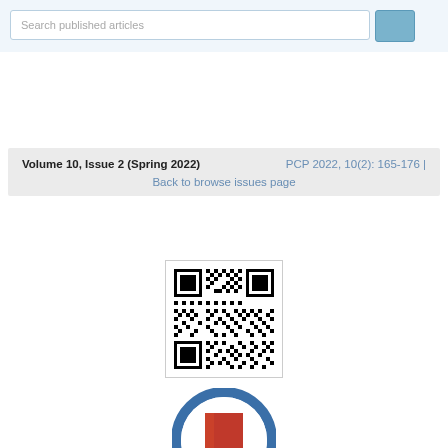Search published articles
Volume 10, Issue 2 (Spring 2022)   PCP 2022, 10(2): 165-176 |
Back to browse issues page
[Figure (other): QR code linking to article]
[Figure (other): Bookmark/citation icon — circular blue border with red bookmark ribbon]